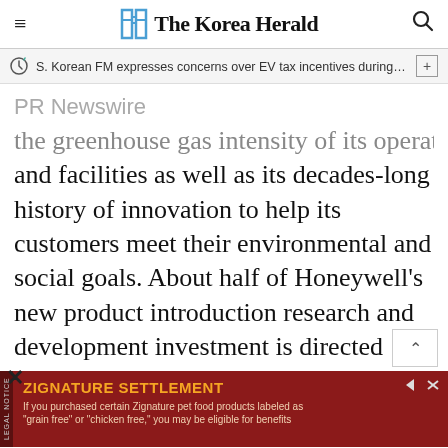The Korea Herald
S. Korean FM expresses concerns over EV tax incentives during c···
PR Newswire
the greenhouse gas intensity of its operations and facilities as well as its decades-long history of innovation to help its customers meet their environmental and social goals. About half of Honeywell's new product introduction research and development investment is directed toward products that improve environmental and social outcomes for customers.
ZIGNATURE SETTLEMENT
If you purchased certain Zignature pet food products labeled as "grain free" or "chicken free," you may be eligible for benefits